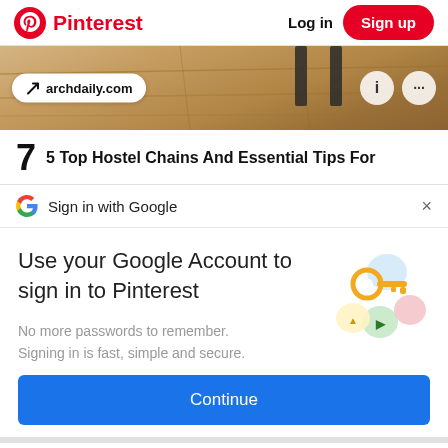Pinterest — Log in | Sign up
[Figure (screenshot): Partial image of a wood floor with a chair leg, with archdaily.com source button overlay and info/menu icon circles]
7   5 Top Hostel Chains And Essential Tips For
Sign in with Google
Use your Google Account to sign in to Pinterest
No more passwords to remember. Signing in is fast, simple and secure.
[Figure (illustration): Google key illustration with colorful circles and a gold key icon]
Continue